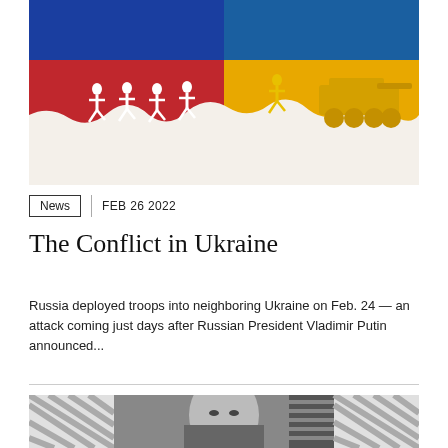[Figure (illustration): Illustration of silhouetted soldiers running left to right against a background divided into colors representing the Russian flag (blue and red on the left) and the Ukrainian flag (blue and yellow on the right), with a torn paper texture revealing white beneath.]
News  FEB 26 2022
The Conflict in Ukraine
Russia deployed troops into neighboring Ukraine on Feb. 24 — an attack coming just days after Russian President Vladimir Putin announced...
[Figure (photo): Black and white photograph of an elderly man (appears to be a statesman or public figure) against a striped background, with bookshelves visible in the background.]